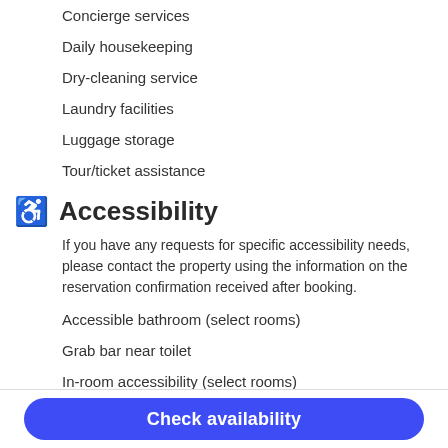Concierge services
Daily housekeeping
Dry-cleaning service
Laundry facilities
Luggage storage
Tour/ticket assistance
Accessibility
If you have any requests for specific accessibility needs, please contact the property using the information on the reservation confirmation received after booking.
Accessible bathroom (select rooms)
Grab bar near toilet
In-room accessibility (select rooms)
Wheelchair accessible (may have limitations)
More
Check availability